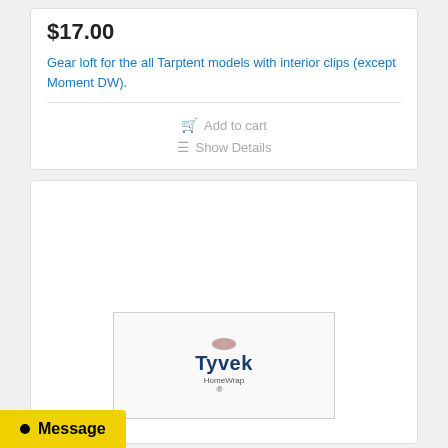$17.00
Gear loft for the all Tarptent models with interior clips (except Moment DW).
Add to cart
Show Details
[Figure (logo): Tyvek HomeWrap product logo inside a bordered box]
Message